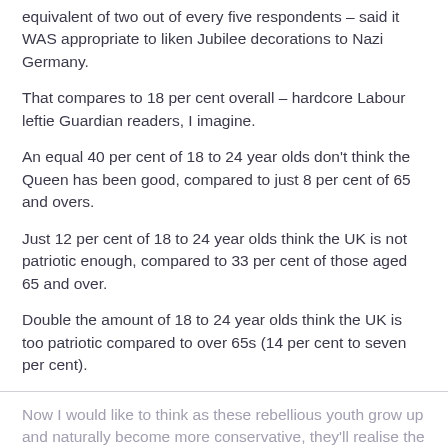equivalent of two out of every five respondents – said it WAS appropriate to liken Jubilee decorations to Nazi Germany.
That compares to 18 per cent overall – hardcore Labour leftie Guardian readers, I imagine.
An equal 40 per cent of 18 to 24 year olds don't think the Queen has been good, compared to just 8 per cent of 65 and overs.
Just 12 per cent of 18 to 24 year olds think the UK is not patriotic enough, compared to 33 per cent of those aged 65 and over.
Double the amount of 18 to 24 year olds think the UK is too patriotic compared to over 65s (14 per cent to seven per cent).
Now I would like to think as these rebellious youth grow up and naturally become more conservative, they'll realise the importance of the monarchy to this great country.